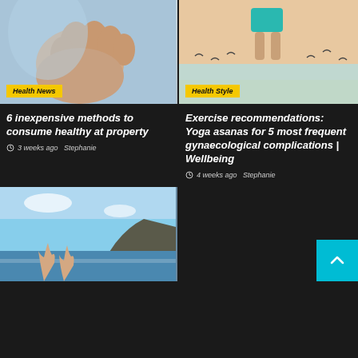[Figure (photo): Close-up photo of a child's fist/hand with blue background]
Health News
[Figure (photo): Person jumping/running outdoors with birds in background]
Health Style
6 inexpensive methods to consume healthy at property
3 weeks ago  Stephanie
Exercise recommendations: Yoga asanas for 5 most frequent gynaecological complications | Wellbeing
4 weeks ago  Stephanie
[Figure (photo): Person raising hands outdoors near rocky coast with ocean view]
[Figure (other): Cyan/teal scroll-to-top button with upward chevron arrow]